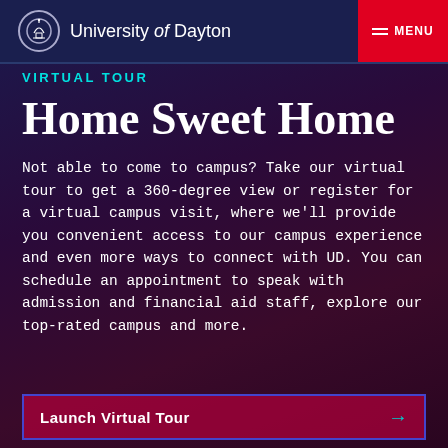University of Dayton — MENU
VIRTUAL TOUR
Home Sweet Home
Not able to come to campus? Take our virtual tour to get a 360-degree view or register for a virtual campus visit, where we'll provide you convenient access to our campus experience and even more ways to connect with UD. You can schedule an appointment to speak with admission and financial aid staff, explore our top-rated campus and more.
Launch Virtual Tour →